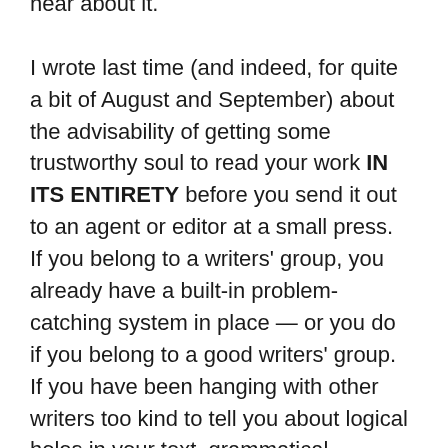hear about it. I wrote last time (and indeed, for quite a bit of August and September) about the advisability of getting some trustworthy soul to read your work IN ITS ENTIRETY before you send it out to an agent or editor at a small press. If you belong to a writers' group, you already have a built-in problem-catching system in place — or you do if you belong to a good writers' group. If you have been hanging with other writers too kind to tell you about logical holes in your text, grammatical problems, or the fact that your